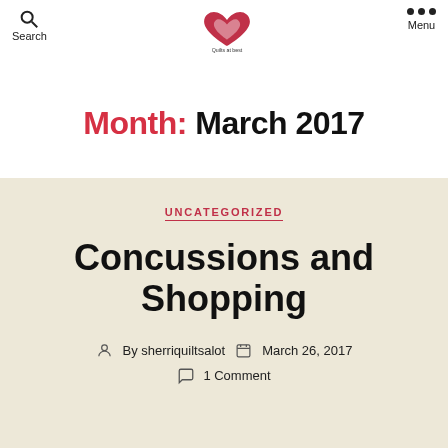Search | [Logo: Sherri Quiltsalot] | Menu
Month: March 2017
UNCATEGORIZED
Concussions and Shopping
By sherriquiltsalot   March 26, 2017   1 Comment